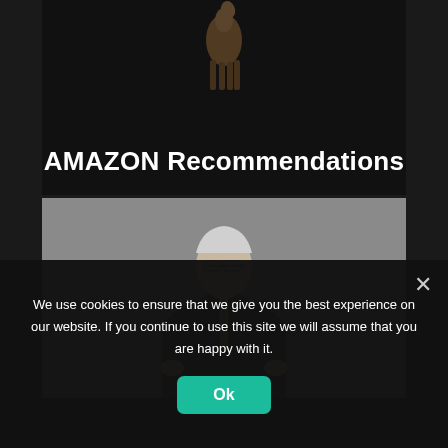[Figure (screenshot): Website screenshot showing a dark-background section with a horse/figure silhouette at top and the text 'AMAZON Recommendations' in bold white, followed by a grayscale photo of an older man in a dark suit with a yellow tie against a gray background, and a cookie consent overlay at the bottom.]
AMAZON Recommendations
We use cookies to ensure that we give you the best experience on our website. If you continue to use this site we will assume that you are happy with it.